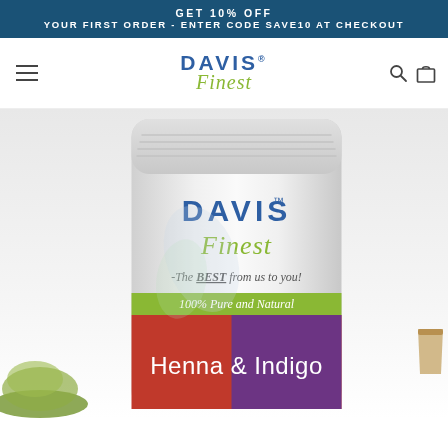GET 10% OFF YOUR FIRST ORDER - ENTER CODE SAVE10 AT CHECKOUT
[Figure (logo): Davis Finest logo with navigation hamburger menu, search icon, and shopping bag icon]
[Figure (photo): Davis Finest Henna & Indigo product bag with '100% Pure and Natural' label, green powder on the left, and a cup on the right. The bag reads: DAVIS Finest - The BEST from us to you! 100% Pure and Natural Henna & Indigo]